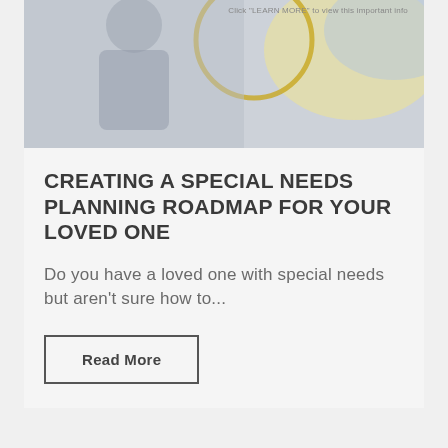[Figure (photo): Partial photo of a person with special needs, with decorative circular yellow outline and blue/yellow background shapes. Small text reads: Click 'LEARN MORE' to view this important info.]
CREATING A SPECIAL NEEDS PLANNING ROADMAP FOR YOUR LOVED ONE
Do you have a loved one with special needs but aren't sure how to...
Read More